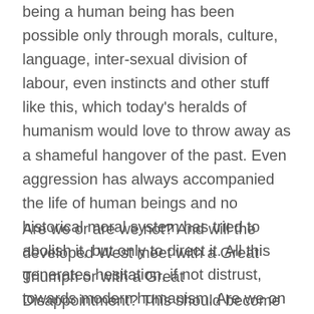being a human being has been possible only through morals, culture, language, inter-sexual division of labour, even instincts and other stuff like this, which today's heralds of humanism would love to throw away as a shameful hangover of the past. Even aggression has always accompanied the life of human beings and no historical moral system has tried to abolish it, but only to direct it. All this generates hesitation, if not distrust, towards modern humanism. Are we on a wrong track?
Are we or are we not? And will the developed West meet with a Great Triumph or with a Great Disappointment? This should become evident during the present century and perhaps even faster. And if